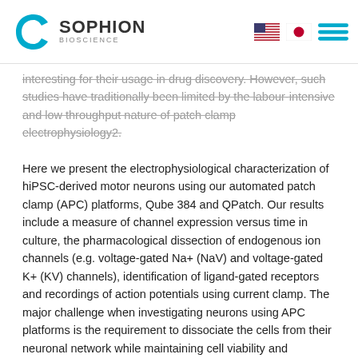Sophion Bioscience logo with US flag, Japan flag, and menu icon
interesting for their usage in drug discovery. However, such studies have traditionally been limited by the labour-intensive and low throughput nature of patch clamp electrophysiology2.
Here we present the electrophysiological characterization of hiPSC-derived motor neurons using our automated patch clamp (APC) platforms, Qube 384 and QPatch. Our results include a measure of channel expression versus time in culture, the pharmacological dissection of endogenous ion channels (e.g. voltage-gated Na+ (NaV) and voltage-gated K+ (KV) channels), identification of ligand-gated receptors and recordings of action potentials using current clamp. The major challenge when investigating neurons using APC platforms is the requirement to dissociate the cells from their neuronal network while maintaining cell viability and membrane integrity3. By optimization of the